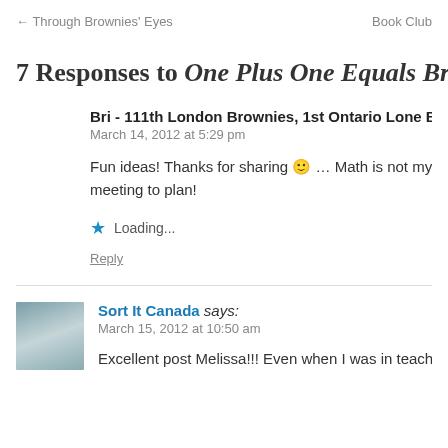← Through Brownies' Eyes    Book Club
7 Responses to One Plus One Equals Brow
Bri - 111th London Brownies, 1st Ontario Lone Bro
March 14, 2012 at 5:29 pm
Fun ideas! Thanks for sharing 🙂 … Math is not my fo meeting to plan!
Loading...
Reply
Sort It Canada says:
March 15, 2012 at 10:50 am
Excellent post Melissa!!! Even when I was in teacher's